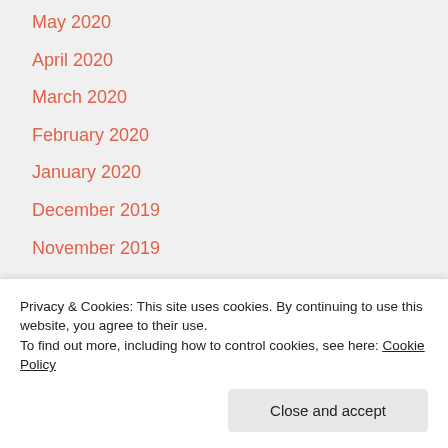May 2020
April 2020
March 2020
February 2020
January 2020
December 2019
November 2019
October 2019
September 2019
August 2019
July 2019
Privacy & Cookies: This site uses cookies. By continuing to use this website, you agree to their use.
To find out more, including how to control cookies, see here: Cookie Policy
Close and accept